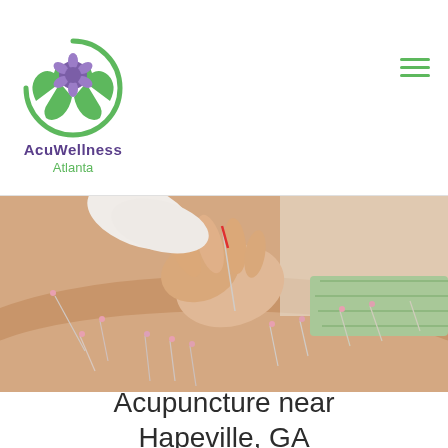[Figure (logo): AcuWellness Atlanta logo with green hands cradling a purple flower, circular design]
[Figure (photo): Close-up photo of acupuncture needles being inserted into a patient's back by a practitioner's hands, with several needles already placed]
Acupuncture near Hapeville, GA